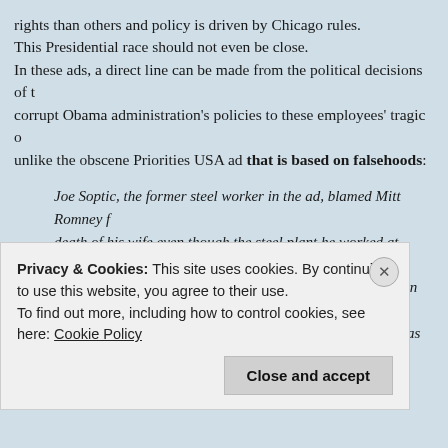rights than others and policy is driven by Chicago rules. This Presidential race should not even be close. In these ads, a direct line can be made from the political decisions of the corrupt Obama administration's policies to these employees' tragic o… unlike the obscene Priorities USA ad that is based on falsehoods:
Joe Soptic, the former steel worker in the ad, blamed Mitt Romney for the death of his wife even though the steel plant he worked at closed after Romney left Bain. Mitt Romney left Bain 1999 to go work on the Winter Olympics. GST Steel went belly up in 2001. Soptic's wife was diagnosed with cancer in 2006. Only a crazy liberal would blame Romney for her death.
But there's more...
CNN spoke to Joe Soptic, and found out that when he lost his GST jo…
Privacy & Cookies: This site uses cookies. By continuing to use this website, you agree to their use.
To find out more, including how to control cookies, see here: Cookie Policy